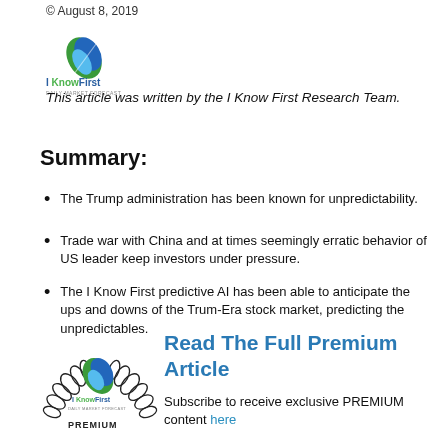© August 8, 2019
[Figure (logo): I Know First logo — blue and green feather/leaf icon with 'I KnowFirst' wordmark and 'DAILY MARKET FORECAST' tagline]
This article was written by the I Know First Research Team.
Summary:
The Trump administration has been known for unpredictability.
Trade war with China and at times seemingly erratic behavior of US leader keep investors under pressure.
The I Know First predictive AI has been able to anticipate the ups and downs of the Trum-Era stock market, predicting the unpredictables.
[Figure (logo): I Know First PREMIUM badge — circular laurel wreath design with I Know First logo inside and 'PREMIUM' text below]
Read The Full Premium Article
Subscribe to receive exclusive PREMIUM content here